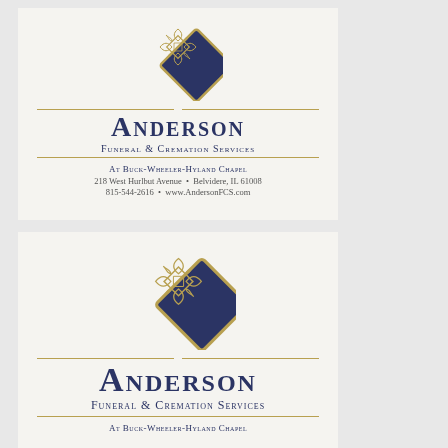[Figure (logo): Anderson Funeral & Cremation Services logo - diamond shape with ornate celtic knot pattern in navy and gold]
Anderson
Funeral & Cremation Services
At Buck-Wheeler-Hyland Chapel
218 West Hurlbut Avenue • Belvidere, IL 61008
815-544-2616 • www.AndersonFCS.com
[Figure (logo): Anderson Funeral & Cremation Services logo - diamond shape with ornate celtic knot pattern in navy and gold (repeated)]
Anderson
Funeral & Cremation Services
At Buck-Wheeler-Hyland Chapel